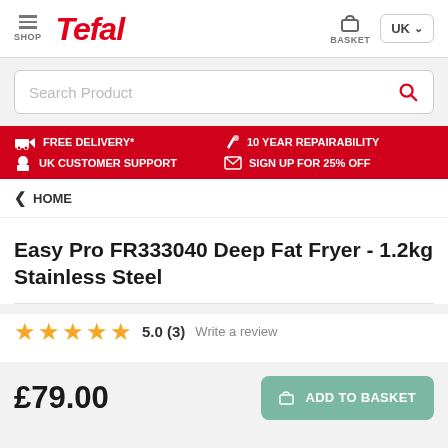SHOP | Tefal | BASKET | UK
Search Product
FREE DELIVERY*  10 YEAR REPAIRABILITY  UK CUSTOMER SUPPORT  SIGN UP FOR 25% OFF
HOME
Easy Pro FR333040 Deep Fat Fryer - 1.2kg Stainless Steel
5.0 (3)  Write a review
£79.00  ADD TO BASKET